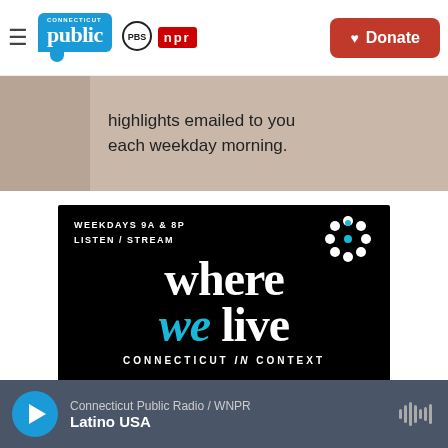Connecticut Public | PBS | NPR — Donate
[Figure (screenshot): Partial banner ad with text: Sign up for daily news highlights emailed to you each weekday morning.]
[Figure (illustration): Where We Live — Connecticut in Context, with Lucy Nalpathanchil. WEEKDAYS 9A & 8P LISTEN / STREAM. Black background with snowflake logo.]
Connecticut Public Radio / WNPR — Latino USA